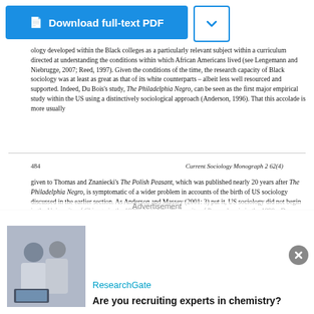[Figure (other): Download full-text PDF button (blue) and chevron dropdown button]
ology developed within the Black colleges as a particularly relevant subject within a curriculum directed at understanding the conditions within which African Americans lived (see Lengemann and Niebrugge, 2007; Reed, 1997). Given the conditions of the time, the research capacity of Black sociology was at least as great as that of its white counterparts – albeit less well resourced and supported. Indeed, Du Bois's study, The Philadelphia Negro, can be seen as the first major empirical study within the US using a distinctively sociological approach (Anderson, 1996). That this accolade is more usually
484    Current Sociology Monograph 2 62(4)
given to Thomas and Znaniecki's The Polish Peasant, which was published nearly 20 years after The Philadelphia Negro, is symptomatic of a wider problem in accounts of the birth of US sociology discussed in the earlier section. As Anderson and Massey (2001: 3) put it, US sociology did not begin in the University of Chicago in the 1920s, but at the University of Pennsylvania in the 1890s. Du Bois's Philadelphia Negro, they continue, 'anticipated in every way the program of theory and research that later became known as the Chicago School' (2001: 4). As Bracey, Meier and Rudwick had earlier argued, it is ironic that while Du Bois' was part of the mainstream of American sociology
Advertisement
[Figure (photo): Photo of two people in lab coats looking at a computer screen — ResearchGate advertisement]
ResearchGate
Are you recruiting experts in chemistry?